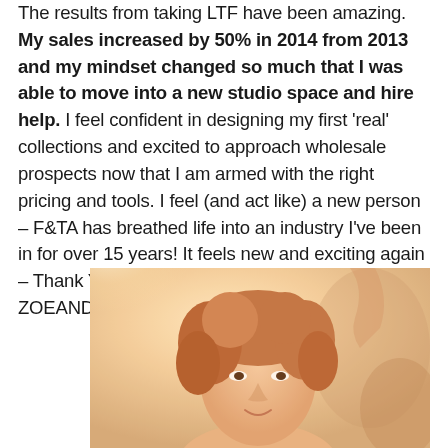The results from taking LTF have been amazing. My sales increased by 50% in 2014 from 2013 and my mindset changed so much that I was able to move into a new studio space and hire help. I feel confident in designing my first 'real' collections and excited to approach wholesale prospects now that I am armed with the right pricing and tools. I feel (and act like) a new person – F&TA has breathed life into an industry I've been in for over 15 years! It feels new and exciting again – Thank You both SO much!SIENNA KITTELMAN, ZOEANDPIPER.COM
[Figure (photo): Portrait photo of a woman with curly hair, warm/sunny background, cropped at bottom of page]